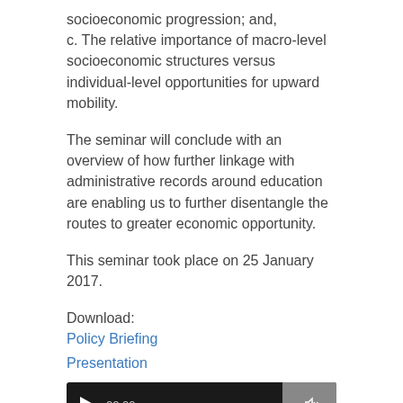socioeconomic progression; and,
c. The relative importance of macro-level socioeconomic structures versus individual-level opportunities for upward mobility.
The seminar will conclude with an overview of how further linkage with administrative records around education are enabling us to further disentangle the routes to greater economic opportunity.
This seminar took place on 25 January 2017.
Download:
Policy Briefing
Presentation
[Figure (other): Audio player widget with play button, time display 00:00, progress bar, and end time 00:00]
Podcast: Play in new window | Download